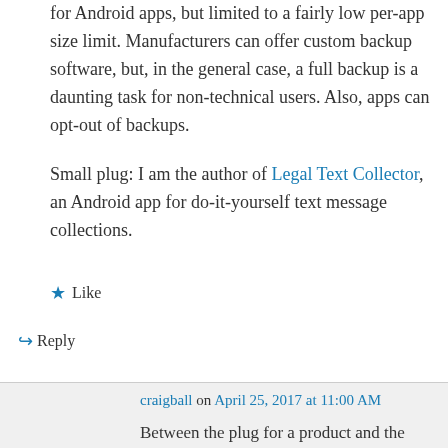for Android apps, but limited to a fairly low per-app size limit. Manufacturers can offer custom backup software, but, in the general case, a full backup is a daunting task for non-technical users. Also, apps can opt-out of backups.

Small plug: I am the author of Legal Text Collector, an Android app for do-it-yourself text message collections.
★ Like
↪ Reply
craigball on April 25, 2017 at 11:00 AM
Between the plug for a product and the